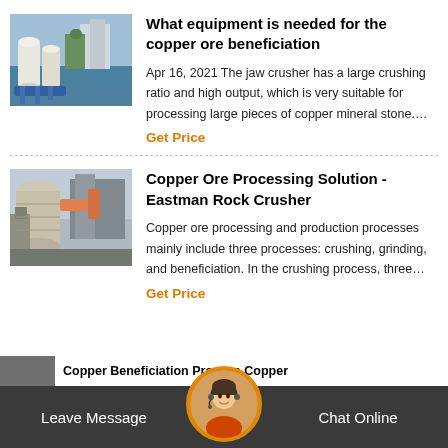[Figure (photo): Industrial mining equipment - large yellow/white machinery (cone crusher or similar)]
What equipment is needed for the copper ore beneficiation
Apr 16, 2021 The jaw crusher has a large crushing ratio and high output, which is very suitable for processing large pieces of copper mineral stone....
Get Price
[Figure (photo): Industrial copper ore processing plant with large cylindrical equipment and industrial buildings]
Copper Ore Processing Solution - Eastman Rock Crusher
Copper ore processing and production processes mainly include three processes: crushing, grinding, and beneficiation. In the crushing process, three…
Get Price
Leave Message   Chat Online